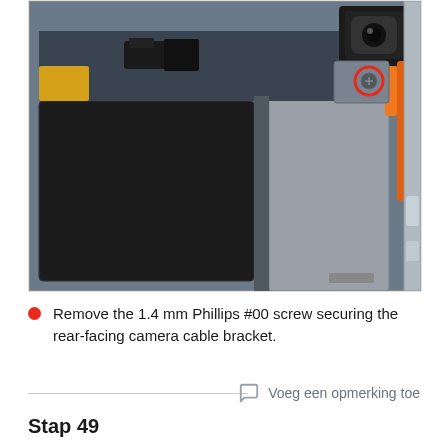[Figure (photo): Close-up photo of the inside of a tablet or smartphone showing internal components. Visible are a large black battery, a grey metal shield plate, black cable connectors, a yellow component on the left, a front-facing camera module at top right, orange cables on the right side, and a red-circled Phillips screw on a metal bracket.]
Remove the 1.4 mm Phillips #00 screw securing the rear-facing camera cable bracket.
Voeg een opmerking toe
Stap 49